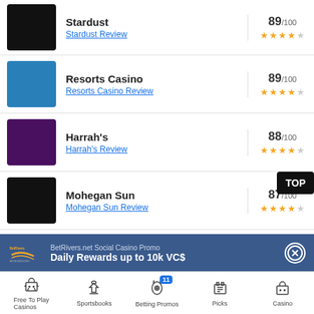Stardust 89/100 ★★★★☆ Stardust Review
Resorts Casino 89/100 ★★★★☆ Resorts Casino Review
Harrah's 88/100 ★★★★☆ Harrah's Review
Mohegan Sun 87/100 ★★★★☆ Mohegan Sun Review
BetRivers.net Social Casino Promo
Daily Rewards up to 10k VC$
Free To Play Casinos | Sportsbooks | Betting Promos 11 | Picks | Casino